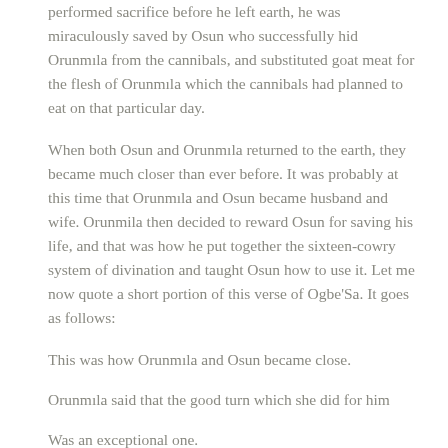performed sacrifice before he left earth, he was miraculously saved by Osun who successfully hid Orunmila from the cannibals, and substituted goat meat for the flesh of Orunmila which the cannibals had planned to eat on that particular day.
When both Osun and Orunmila returned to the earth, they became much closer than ever before. It was probably at this time that Orunmila and Osun became husband and wife. Orunmila then decided to reward Osun for saving his life, and that was how he put together the sixteen-cowry system of divination and taught Osun how to use it. Let me now quote a short portion of this verse of Ogbe'Sa. It goes as follows:
This was how Orunmila and Osun became close.
Orunmila said that the good turn which she did for him
Was an exceptional one.